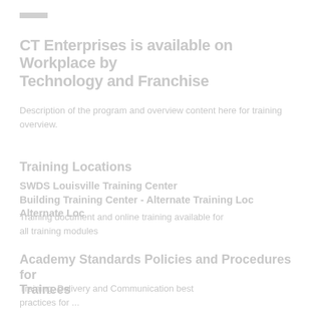—
CT Enterprises is available on Workplace by
Technology and Franchise
Description of the program and overview content here for training overview.
Training Locations
SWDS Louisville Training Center
Building Training Center - Alternate Training Loc
Alternate Loc
Training document and online training available for
all training modules
Academy Standards Policies and Procedures for
Trainees
Training, Delivery and Communication best
practices for ...